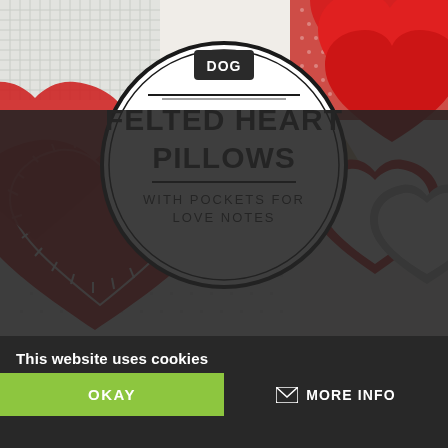[Figure (photo): Craft/DIY blog post cover image showing red felted heart pillows with white blanket-stitch edging on a white dotted fabric background, red and gray heart cutouts on the right side, and red heart shapes with pockets stacked on the upper right. A circular badge/logo overlaid in the center top area with bold text reading 'FELTED HEART PILLOWS WITH POCKETS FOR LOVE NOTES'.]
FELTED HEART PILLOWS
WITH POCKETS FOR LOVE NOTES
This website uses cookies
OKAY
MORE INFO